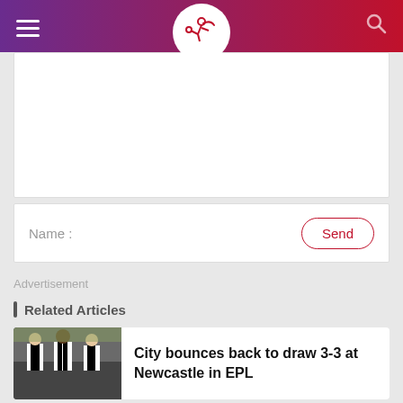[Figure (screenshot): App header with gradient purple-to-red background, hamburger menu icon on left, circular white logo with soccer player icon in center, search icon on right]
[Figure (other): White comment text area input box]
Name :
Send
Advertisement
Related Articles
City bounces back to draw 3-3 at Newcastle in EPL